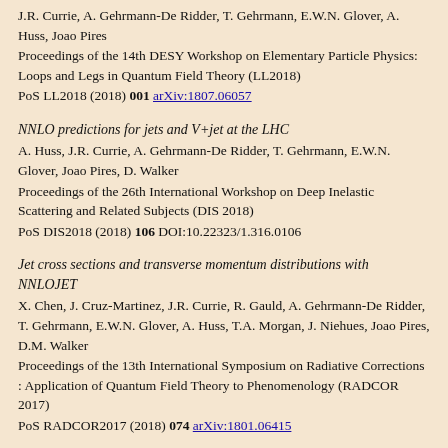J.R. Currie, A. Gehrmann-De Ridder, T. Gehrmann, E.W.N. Glover, A. Huss, Joao Pires
Proceedings of the 14th DESY Workshop on Elementary Particle Physics: Loops and Legs in Quantum Field Theory (LL2018)
PoS LL2018 (2018) 001 arXiv:1807.06057
NNLO predictions for jets and V+jet at the LHC
A. Huss, J.R. Currie, A. Gehrmann-De Ridder, T. Gehrmann, E.W.N. Glover, Joao Pires, D. Walker
Proceedings of the 26th International Workshop on Deep Inelastic Scattering and Related Subjects (DIS 2018)
PoS DIS2018 (2018) 106 DOI:10.22323/1.316.0106
Jet cross sections and transverse momentum distributions with NNLOJET
X. Chen, J. Cruz-Martinez, J.R. Currie, R. Gauld, A. Gehrmann-De Ridder, T. Gehrmann, E.W.N. Glover, A. Huss, T.A. Morgan, J. Niehues, Joao Pires, D.M. Walker
Proceedings of the 13th International Symposium on Radiative Corrections : Application of Quantum Field Theory to Phenomenology (RADCOR 2017)
PoS RADCOR2017 (2018) 074 arXiv:1801.06415
Differential single jet inclusive production at Next-to-Next-...